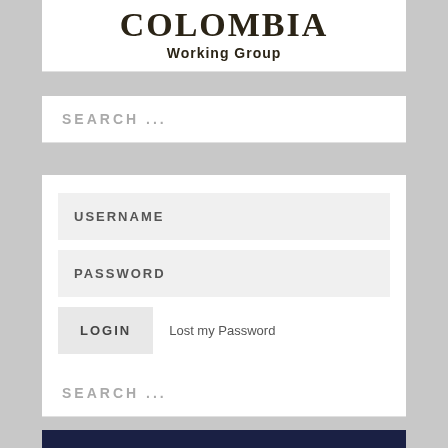[Figure (logo): COLOMBIA Working Group logo text in dark serif font on white background]
SEARCH ...
USERNAME
PASSWORD
LOGIN    Lost my Password
SEARCH ...